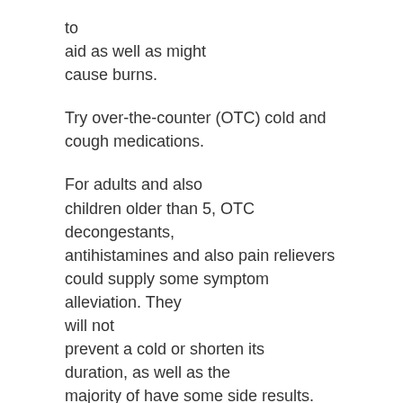to
aid as well as might
cause burns.
Try over-the-counter (OTC) cold and cough medications.
For adults and also children older than 5, OTC decongestants, antihistamines and also pain relievers could supply some symptom alleviation. They will not prevent a cold or shorten its duration, as well as the majority of have some side results. Professionals agree that these should not be given to younger children. Overuse and misuse of these